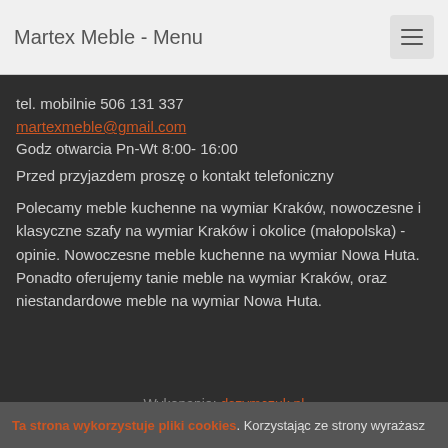Martex Meble - Menu
tel. mobilnie 506 131 337
martexmeble@gmail.com
Godz otwarcia Pn-Wt 8:00- 16:00
Przed przyjazdem proszę o kontakt telefoniczny
Polecamy meble kuchenne na wymiar Kraków, nowoczesne i klasyczne szafy na wymiar Kraków i okolice (małopolska) - opinie. Nowoczesne meble kuchenne na wymiar Nowa Huta. Ponadto oferujemy tanie meble na wymiar Kraków, oraz niestandardowe meble na wymiar Nowa Huta.
Wykonanie: dszymczuk.pl
Ta strona wykorzystuje pliki cookies. Korzystając ze strony wyrażasz